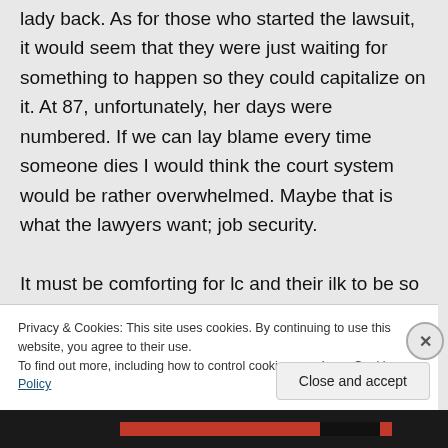lady back. As for those who started the lawsuit, it would seem that they were just waiting for something to happen so they could capitalize on it. At 87, unfortunately, her days were numbered. If we can lay blame every time someone dies I would think the court system would be rather overwhelmed. Maybe that is what the lawyers want; job security. It must be comforting for lc and their ilk to be so perfect that nothing of this nature
Privacy & Cookies: This site uses cookies. By continuing to use this website, you agree to their use. To find out more, including how to control cookies, see here: Cookie Policy
Close and accept